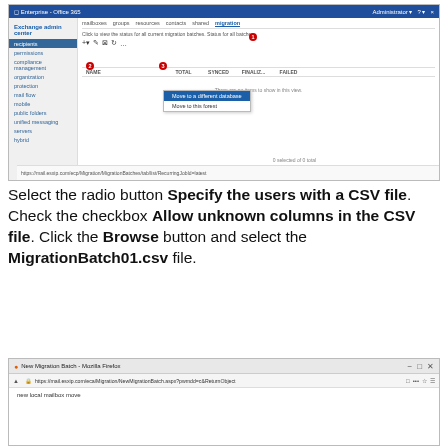[Figure (screenshot): Exchange admin center screenshot showing the migration tab with a dropdown menu open displaying 'Move to a different database' and 'Move to this forest' options. Red numbered badges 1, 2, 3 point to migration tab, toolbar, and dropdown respectively.]
Select the radio button Specify the users with a CSV file. Check the checkbox Allow unknown columns in the CSV file. Click the Browse button and select the MigrationBatch01.csv file.
[Figure (screenshot): New Migration Batch - Mozilla Firefox browser window showing URL https://mail.esxip.com/eca/Migration/NewMigrationBatch.aspx?pwmdd=c&ReturnObject with 'new local mailbox move' text visible.]